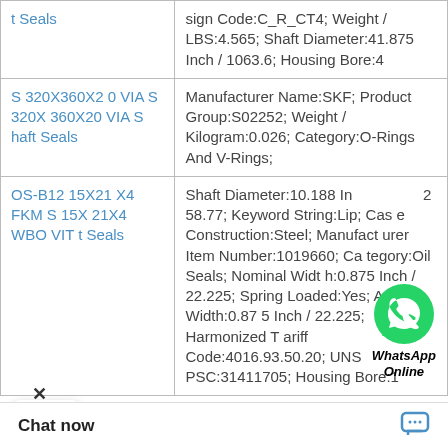| Product | Details |
| --- | --- |
| t Seals | sign Code:C_R_CT4; Weight / LBS:4.565; Shaft Diameter:41.875 Inch / 1063.6; Housing Bore:4 |
| S 320X360X20 VIA S 320X360X20 VIA Shaft Seals | Manufacturer Name:SKF; Product Group:S02252; Weight / Kilogram:0.026; Category:O-Rings And V-Rings; |
| OS-B12 15X21X4 FKM S 15X21X4 WBO VIT t Seals | Shaft Diameter:10.188 In / 258.77; Keyword String:Lip; Case Construction:Steel; Manufacturer Item Number:1019660; Category:Oil Seals; Nominal Width:0.875 Inch / 22.225; Spring Loaded:Yes; Actual Width:0.875 Inch / 22.225; Harmonized Tariff Code:4016.93.50.20; UNSPSC:31411705; Housing Bore:1 |